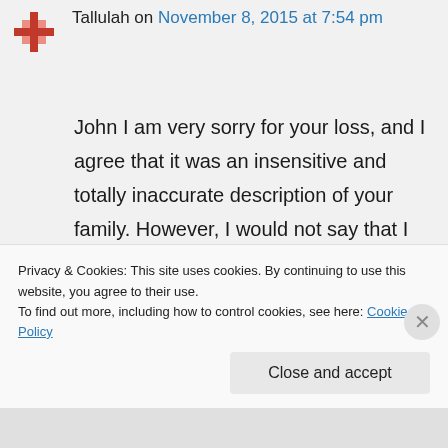Tallulah on November 8, 2015 at 7:54 pm
John I am very sorry for your loss, and I agree that it was an insensitive and totally inaccurate description of your family. However, I would not say that I can understand why it makes you ashamed of being a journalist. On the whole it is accepted that papers all present things with their own
Privacy & Cookies: This site uses cookies. By continuing to use this website, you agree to their use.
To find out more, including how to control cookies, see here: Cookie Policy
Close and accept